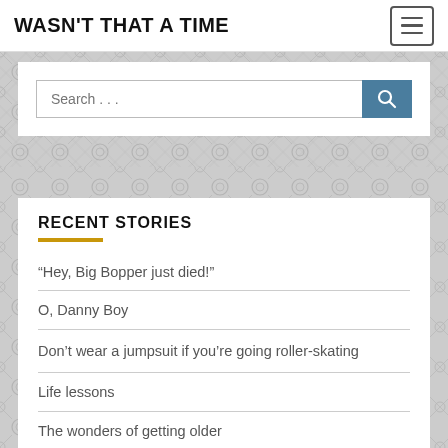WASN'T THAT A TIME
[Figure (screenshot): Search bar with magnifying glass icon button]
RECENT STORIES
“Hey, Big Bopper just died!”
O, Danny Boy
Don’t wear a jumpsuit if you’re going roller-skating
Life lessons
The wonders of getting older